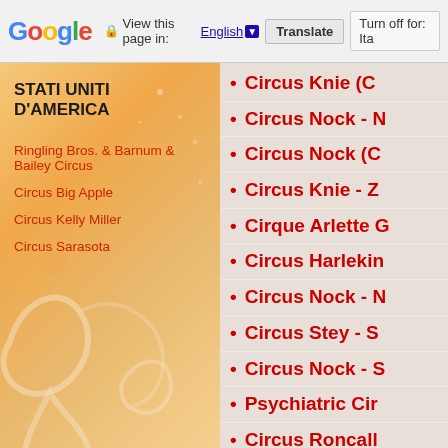Google | View this page in: English | Translate | Turn off for: Ita
STATI UNITI D'AMERICA
Ringling Bros. & Barnum & Bailey Circus
Circus Big Apple
Circus Kelly Miller
Circus Sarasota
Circus Knie (C...
Circus Nock - N...
Circus Nock (C...
Circus Knie - Z...
Cirque Arlette G...
Circus Harlekin...
Circus Nock - N...
Circus Stey - S...
Circus Nock - S...
Psychiatric Cir...
Circus Roncall...
Totem (Cirque ...
Circo Rolando ...
Circus Monti - ...
Circus Nock...